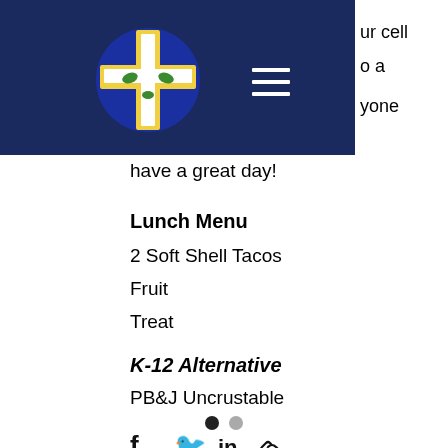[Figure (logo): Church cross logo on dark navy header bar with hamburger menu icon and partial text 'ur cell', 'o a', 'yone' visible on the right side]
have a great day!
Lunch Menu
2 Soft Shell Tacos
Fruit
Treat
K-12 Alternative
PB&J Uncrustable
[Figure (infographic): Social sharing icons: Facebook, Twitter, LinkedIn, and link icon]